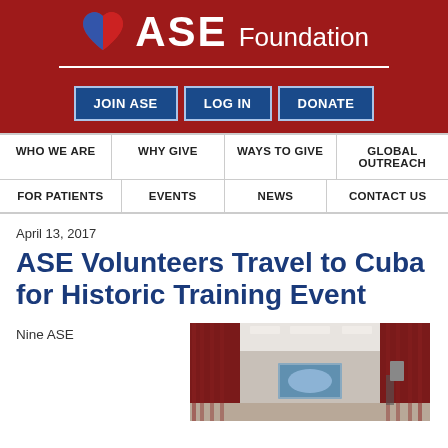ASE Foundation
JOIN ASE | LOG IN | DONATE
WHO WE ARE | WHY GIVE | WAYS TO GIVE | GLOBAL OUTREACH | FOR PATIENTS | EVENTS | NEWS | CONTACT US
April 13, 2017
ASE Volunteers Travel to Cuba for Historic Training Event
Nine ASE
[Figure (photo): Interior of a room with dark red curtained walls, white ceiling, and a screen visible at the far end, resembling a conference or training room.]